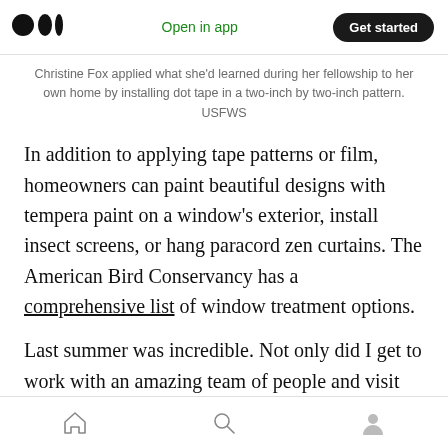Medium app header with logo, Open in app, Get started button
Christine Fox applied what she'd learned during her fellowship to her own home by installing dot tape in a two-inch by two-inch pattern. USFWS
In addition to applying tape patterns or film, homeowners can paint beautiful designs with tempera paint on a window's exterior, install insect screens, or hang paracord zen curtains. The American Bird Conservancy has a comprehensive list of window treatment options.
Last summer was incredible. Not only did I get to work with an amazing team of people and visit
Bottom navigation bar with home, search, and profile icons